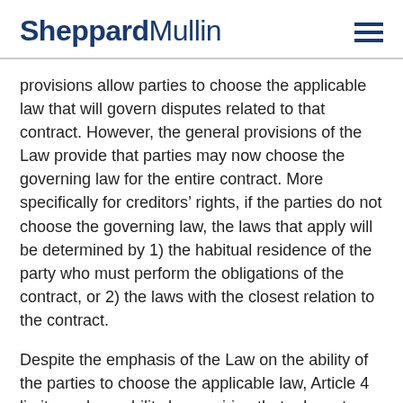SheppardMullin
provisions allow parties to choose the applicable law that will govern disputes related to that contract. However, the general provisions of the Law provide that parties may now choose the governing law for the entire contract. More specifically for creditors’ rights, if the parties do not choose the governing law, the laws that apply will be determined by 1) the habitual residence of the party who must perform the obligations of the contract, or 2) the laws with the closest relation to the contract.
Despite the emphasis of the Law on the ability of the parties to choose the applicable law, Article 4 limits such an ability by requiring that relevant mandatory